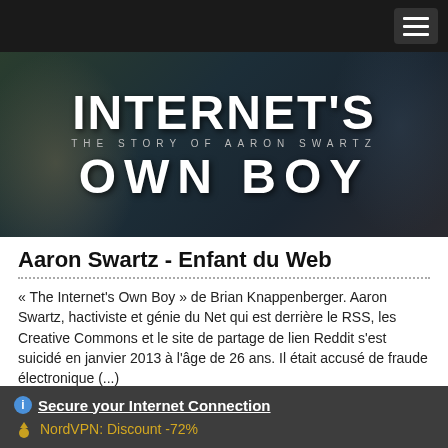[Figure (screenshot): Movie poster/banner for 'Internet's Own Boy – The Story of Aaron Swartz' with large white bold text on dark teal/dark background]
Aaron Swartz - Enfant du Web
« The Internet's Own Boy » de Brian Knappenberger. Aaron Swartz, hactiviste et génie du Net qui est derrière le RSS, les Creative Commons et le site de partage de lien Reddit s'est suicidé en janvier 2013 à l'âge de 26 ans. Il était accusé de fraude électronique (...)
Lire la suite
Secure your Internet Connection
NordVPN: Discount -72%